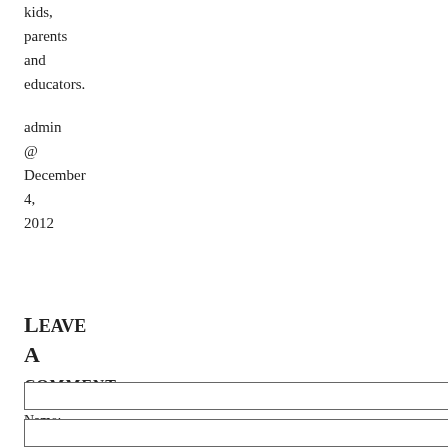kids, parents and educators.
admin @ December 4, 2012
Leave A comment
Name:
Email: (will not